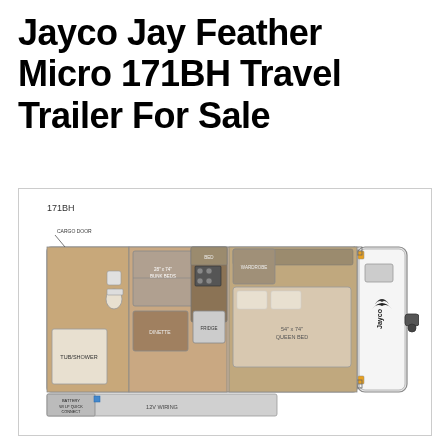Jayco Jay Feather Micro 171BH Travel Trailer For Sale
[Figure (engineering-diagram): Floor plan schematic of Jayco Jay Feather Micro 171BH travel trailer showing top-down layout with: cargo door at rear left, bunk beds (28x74 bunk beds), bathroom with tub/shower, kitchen area with refrigerator, stove, sink, dinette, bed area at front, Jayco logo on exterior, LP quick connect battery, 12V wiring, and awning along bottom. Model label 171BH shown above diagram.]